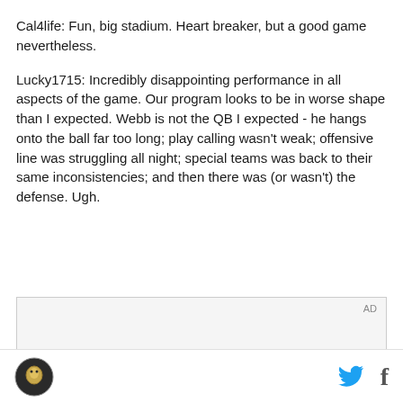Cal4life: Fun, big stadium. Heart breaker, but a good game nevertheless.
Lucky1715: Incredibly disappointing performance in all aspects of the game. Our program looks to be in worse shape than I expected. Webb is not the QB I expected - he hangs onto the ball far too long; play calling wasn't weak; offensive line was struggling all night; special teams was back to their same inconsistencies; and then there was (or wasn't) the defense. Ugh.
[Figure (other): Advertisement box with AD label and partial image of a building/stadium at the bottom]
Site logo, Twitter icon, Facebook icon